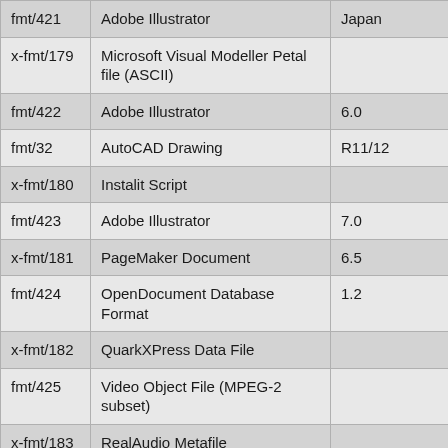| fmt/421 | Adobe Illustrator | Japan |
| x-fmt/179 | Microsoft Visual Modeller Petal file (ASCII) |  |
| fmt/422 | Adobe Illustrator | 6.0 |
| fmt/32 | AutoCAD Drawing | R11/12 |
| x-fmt/180 | Instalit Script |  |
| fmt/423 | Adobe Illustrator | 7.0 |
| x-fmt/181 | PageMaker Document | 6.5 |
| fmt/424 | OpenDocument Database Format | 1.2 |
| x-fmt/182 | QuarkXPress Data File |  |
| fmt/425 | Video Object File (MPEG-2 subset) |  |
| x-fmt/183 | RealAudio Metafile |  |